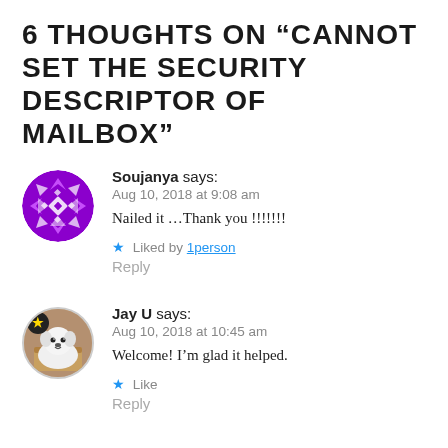6 THOUGHTS ON “CANNOT SET THE SECURITY DESCRIPTOR OF MAILBOX”
Soujanya says:
Aug 10, 2018 at 9:08 am
Nailed it …Thank you !!!!!!!
★ Liked by 1person
Reply
Jay U says:
Aug 10, 2018 at 10:45 am
Welcome! I’m glad it helped.
★ Like
Reply